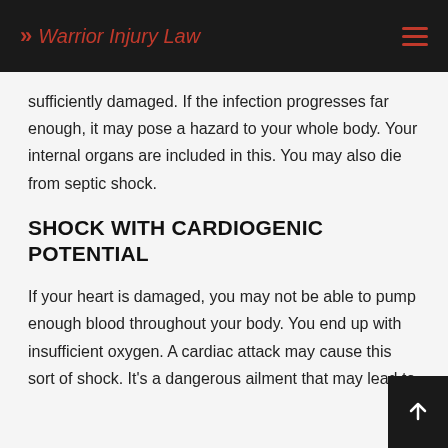Warrior Injury Law
sufficiently damaged. If the infection progresses far enough, it may pose a hazard to your whole body. Your internal organs are included in this. You may also die from septic shock.
SHOCK WITH CARDIOGENIC POTENTIAL
If your heart is damaged, you may not be able to pump enough blood throughout your body. You end up with insufficient oxygen. A cardiac attack may cause this sort of shock. It's a dangerous ailment that may lead to